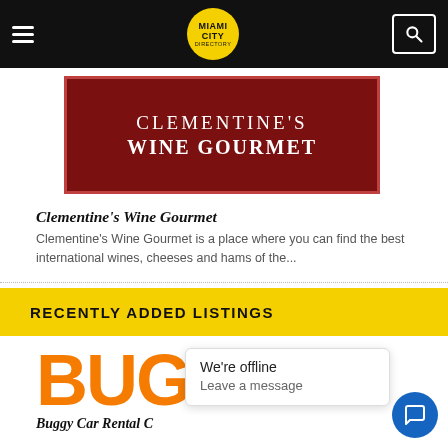Miami City Directory navigation bar with logo and search
[Figure (photo): Clementine's Wine Gourmet dark red banner sign with white serif text]
Clementine's Wine Gourmet
Clementine's Wine Gourmet is a place where you can find the best international wines, cheeses and hams of the...
RECENTLY ADDED LISTINGS
[Figure (logo): Buggy Car Rental orange large text logo]
Buggy Car Rental C...